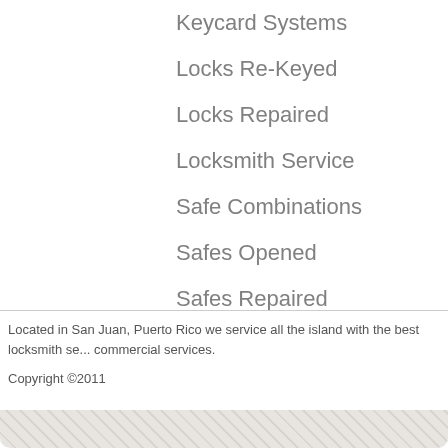Keycard Systems
Locks Re-Keyed
Locks Repaired
Locksmith Service
Safe Combinations
Safes Opened
Safes Repaired
Located in San Juan, Puerto Rico we service all the island with the best locksmith services including residential and commercial services.
Copyright ©2011